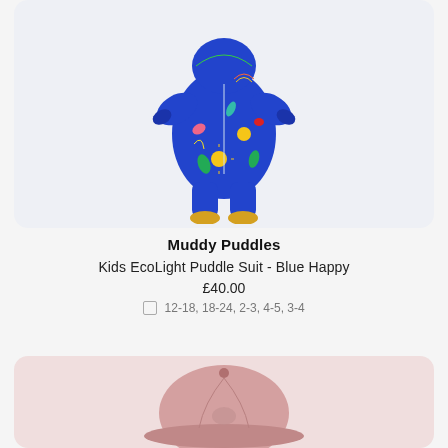[Figure (photo): Blue patterned kids puddle suit with colorful tropical patterns including suns, bananas, and leaves on a light gray background]
Muddy Puddles
Kids EcoLight Puddle Suit - Blue Happy
£40.00
12-18, 18-24, 2-3, 4-5, 3-4
[Figure (photo): Pink baseball cap partially visible at the bottom of a pinkish-beige card]